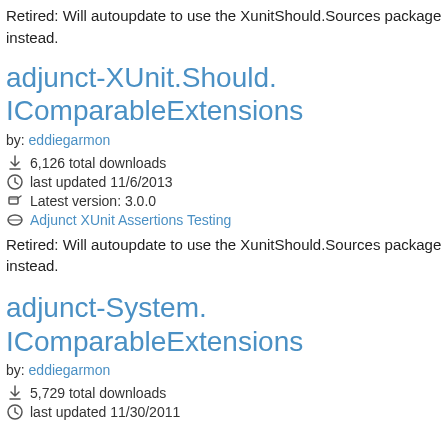Retired: Will autoupdate to use the XunitShould.Sources package instead.
adjunct-XUnit.Should.IComparableExtensions
by: eddiegarmon
6,126 total downloads
last updated 11/6/2013
Latest version: 3.0.0
Adjunct XUnit Assertions Testing
Retired: Will autoupdate to use the XunitShould.Sources package instead.
adjunct-System.IComparableExtensions
by: eddiegarmon
5,729 total downloads
last updated 11/30/2011